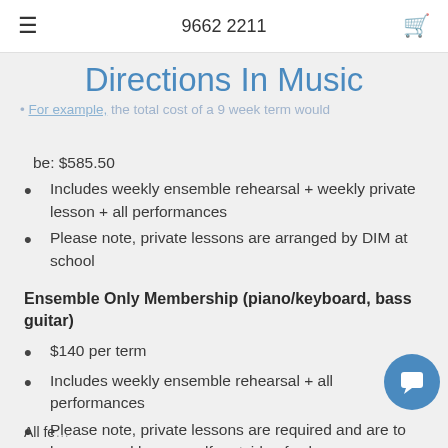9662 2211
Directions In Music
term fee is based on the number of private lessons scheduled for the term, and may differ between 8-10 each term
For example, the total cost of a 9 week term would be: $585.50
Includes weekly ensemble rehearsal + weekly private lesson + all performances
Please note, private lessons are arranged by DIM at school
Ensemble Only Membership (piano/keyboard, bass guitar)
$140 per term
Includes weekly ensemble rehearsal + all performances
Please note, private lessons are required and are to be arranged by yourself, outside of school
All fees are inclusive and contain the following: